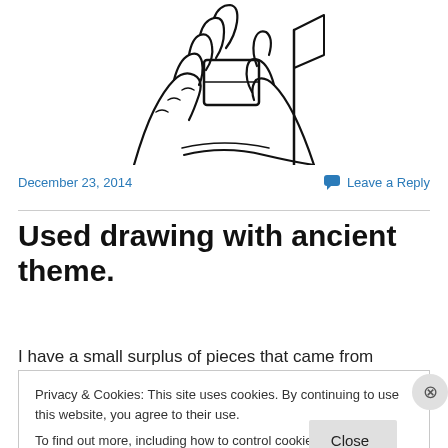[Figure (illustration): Black and white line drawing of hands holding/writing, ancient theme illustration, partially cropped at top]
December 23, 2014
Leave a Reply
Used drawing with ancient theme.
I have a small surplus of pieces that came from
Privacy & Cookies: This site uses cookies. By continuing to use this website, you agree to their use.
To find out more, including how to control cookies, see here: Cookie Policy
Close and accept